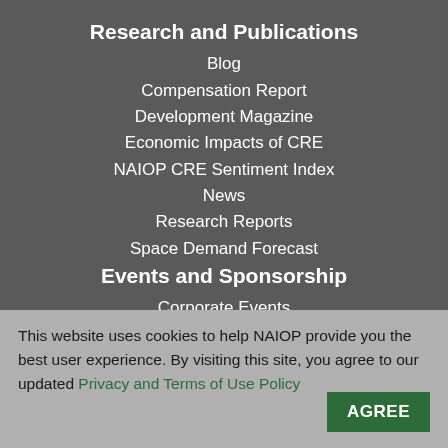Research and Publications
Blog
Compensation Report
Development Magazine
Economic Impacts of CRE
NAIOP CRE Sentiment Index
News
Research Reports
Space Demand Forecast
Events and Sponsorship
Corporate Events
Chapter Events
Awards
Event Sponsorship
This website uses cookies to help NAIOP provide you the best user experience. By visiting this site, you agree to our updated Privacy and Terms of Use Policy